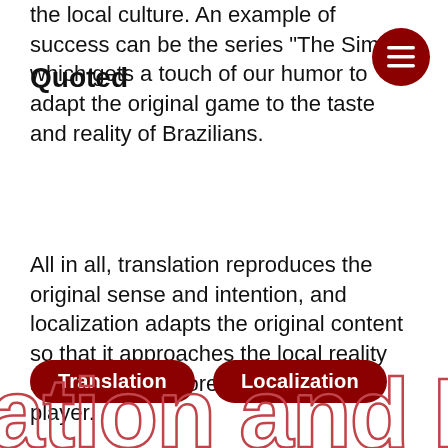Quoted
the local culture. An example of success can be the series “The Sims”, which gets a touch of our humor to adapt the original game to the taste and reality of Brazilians.
All in all, translation reproduces the original sense and intention, and localization adapts the original content so that it approaches the local reality and becomes more attractive to the player.
Translation
Localization
ation and Local